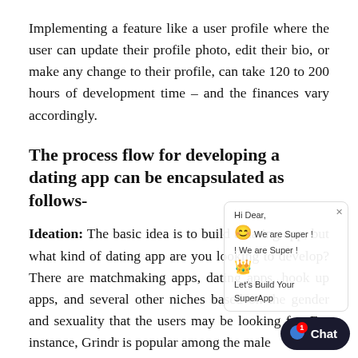Implementing a feature like a user profile where the user can update their profile photo, edit their bio, or make any change to their profile, can take 120 to 200 hours of development time – and the finances vary accordingly.
The process flow for developing a dating app can be encapsulated as follows-
Ideation: The basic idea is to build a dating app, but what kind of dating app are you looking to develop? There are matchmaking apps, dating apps, hook up apps, and several other niches based on the gender and sexuality that the users may be looking for. For instance, Grindr is popular among the male